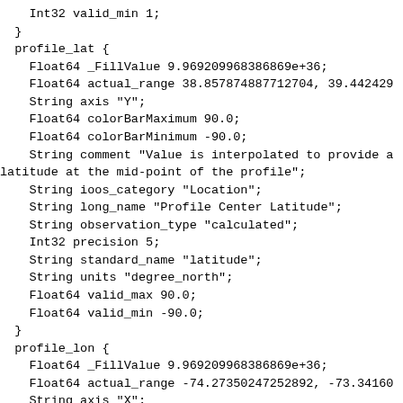Int32 valid_min 1;
  }
  profile_lat {
    Float64 _FillValue 9.969209968386869e+36;
    Float64 actual_range 38.857874887712704, 39.442429
    String axis "Y";
    Float64 colorBarMaximum 90.0;
    Float64 colorBarMinimum -90.0;
    String comment "Value is interpolated to provide a
latitude at the mid-point of the profile";
    String ioos_category "Location";
    String long_name "Profile Center Latitude";
    String observation_type "calculated";
    Int32 precision 5;
    String standard_name "latitude";
    String units "degree_north";
    Float64 valid_max 90.0;
    Float64 valid_min -90.0;
  }
  profile_lon {
    Float64 _FillValue 9.969209968386869e+36;
    Float64 actual_range -74.27350247252892, -73.34160
    String axis "X";
    Float64 colorBarMaximum 180.0;
    Float64 colorBarMinimum -180.0;
    String comment "Value is interpolated to provide